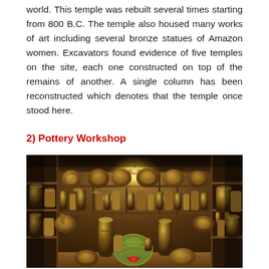world. This temple was rebuilt several times starting from 800 B.C. The temple also housed many works of art including several bronze statues of Amazon women. Excavators found evidence of five temples on the site, each one constructed on top of the remains of another. A single column has been reconstructed which denotes that the temple once stood here.
2) Pottery Workshop
[Figure (photo): Interior of a pottery workshop/shop showing shelves filled with colorful decorated ceramic plates, vases, and pottery items. A chandelier with bright lights hangs from a dark wood ceiling. The shelves on all walls are densely packed with handcrafted pottery pieces.]